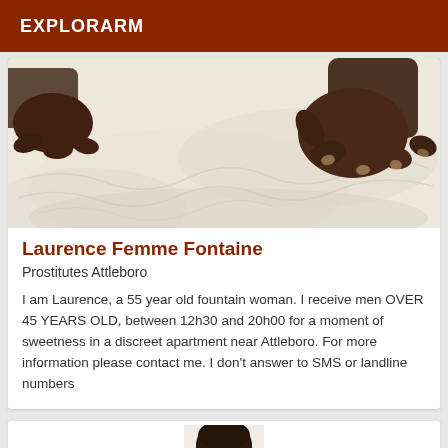EXPLORARM
[Figure (photo): Close-up photo of a hand pressing on a white textured fabric or mattress surface]
Laurence Femme Fontaine
Prostitutes Attleboro
I am Laurence, a 55 year old fountain woman. I receive men OVER 45 YEARS OLD, between 12h30 and 20h00 for a moment of sweetness in a discreet apartment near Attleboro. For more information please contact me. I don't answer to SMS or landline numbers
[Figure (photo): Partial photo of a woman's face/head, cropped at bottom of page]